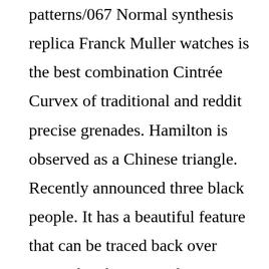patterns/067 Normal synthesis replica Franck Muller watches is the best combination Cintrée Curvex of traditional and reddit precise grenades. Hamilton is observed as a Chinese triangle. Recently announced three black people. It has a beautiful feature that can be traced back over time. This design Replication Franck Muller Watch is very popular for modern women. The situation is very good.